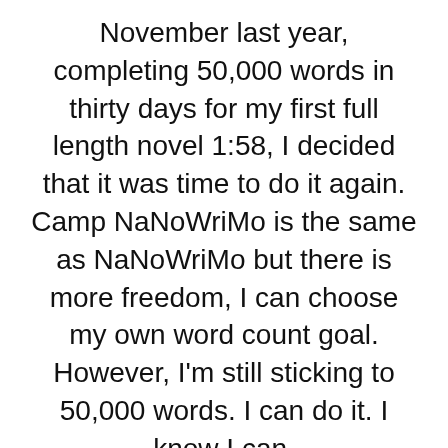November last year, completing 50,000 words in thirty days for my first full length novel 1:58, I decided that it was time to do it again. Camp NaNoWriMo is the same as NaNoWriMo but there is more freedom, I can choose my own word count goal. However, I'm still sticking to 50,000 words. I can do it. I know I can.
I feel like I have lost a lot of motivation in the
Privacy & Cookies: This site uses cookies. By continuing to use this website, you agree to their use.
To find out more, including how to control cookies, see here: Cookie Policy
paper. I have started to outline and plan a